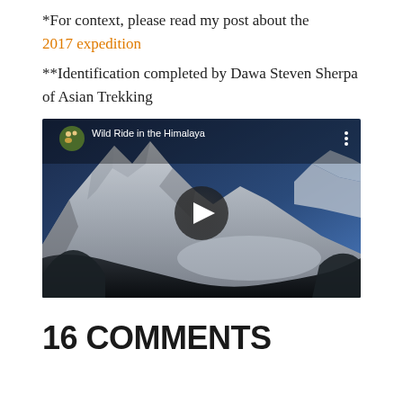*For context, please read my post about the 2017 expedition
**Identification completed by Dawa Steven Sherpa of Asian Trekking
[Figure (screenshot): YouTube video thumbnail showing aerial view of snowy Himalayan mountains from helicopter cockpit, with video title 'Wild Ride in the Himalaya', channel icon, and play button overlay]
16 COMMENTS